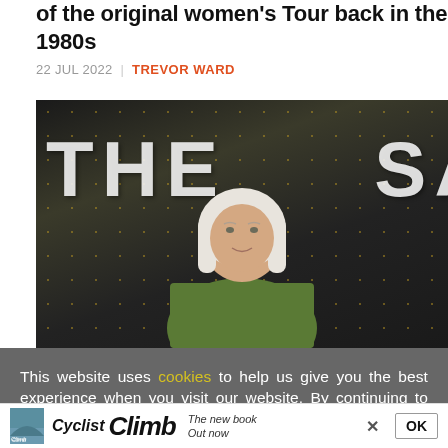of the original women's Tour back in the 1980s
22 JUL 2022 | TREVOR WARD
[Figure (photo): Woman with white/blonde hair wearing a green jumper, standing in front of a black banner with large white letters and gold polka dot pattern, partially visible text reads 'THE ... SAVE']
This website uses cookies to help us give you the best experience when you visit our website. By continuing to use this website, you consent to our use of these cookies.
[Figure (other): Advertisement bar showing Cyclist Climb book advertisement with book cover image, brand name 'Cyclist Climb' in bold italic, tagline 'The new book Out now', close X button and OK button]